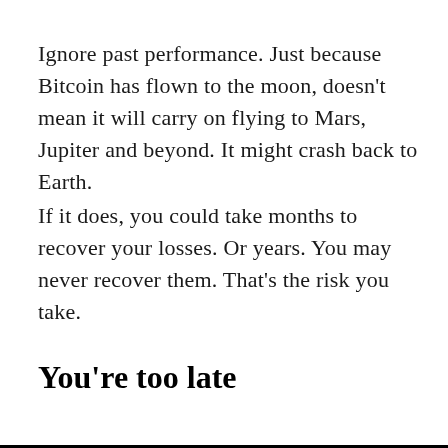Ignore past performance. Just because Bitcoin has flown to the moon, doesn't mean it will carry on flying to Mars, Jupiter and beyond. It might crash back to Earth.
If it does, you could take months to recover your losses. Or years. You may never recover them. That's the risk you take.
You're too late